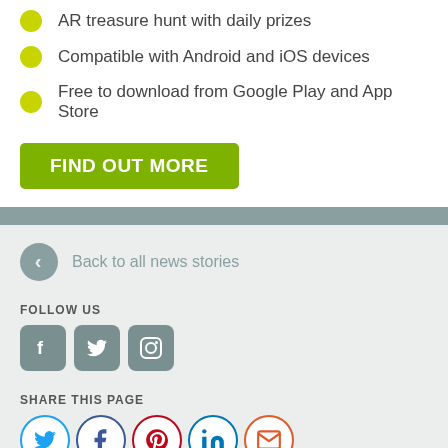AR treasure hunt with daily prizes
Compatible with Android and iOS devices
Free to download from Google Play and App Store
[Figure (other): Green button with text FIND OUT MORE]
Back to all news stories
FOLLOW US
[Figure (other): Social media icons: Facebook, Twitter, Instagram]
SHARE THIS PAGE
[Figure (other): Share icons: Twitter, Facebook, Pinterest, LinkedIn, Email]